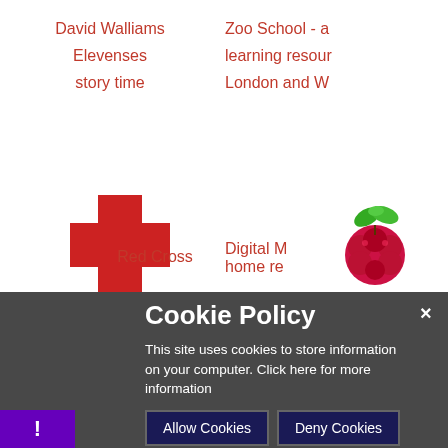David Walliams
Elevenses
story time
Zoo School - a
learning resour
London and W
[Figure (illustration): Red cross (medical cross) icon in red]
[Figure (illustration): Raspberry Pi logo - raspberry with green leaves]
Red Cross
Digital M
home re
Cookie Policy
This site uses cookies to store information on your computer. Click here for more information
Allow Cookies
Deny Cookies
×
!